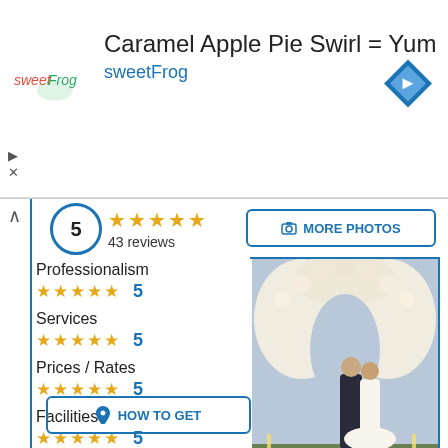[Figure (logo): sweetFrog logo with colorful text]
Caramel Apple Pie Swirl = Yum
sweetFrog
[Figure (logo): Blue diamond navigation/directions icon]
5
43 reviews
MORE PHOTOS
Professionalism
5
Services
5
Prices / Rates
5
Facilities
5
Organization
5
[Figure (photo): Wedding couple standing under a white floral arch with candles]
HOW TO GET